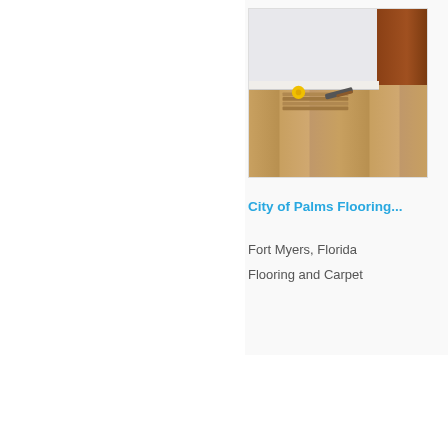[Figure (photo): Flooring installation photo showing hardwood floor planks stacked with tools (tape measure, hammer) on a shiny wood floor, white baseboard/walls, and a dark wood door visible on the right side.]
City of Palms Flooring...
Fort Myers, Florida
Flooring and Carpet
[Figure (logo): Storeboard.com logo: 'store' in black serif font, 'board' in blue serif font, '.com' in small text with border.]
About  |  Press  |  Premium |  Step Inside The Store  |  Guiding Principles  |  Inve...